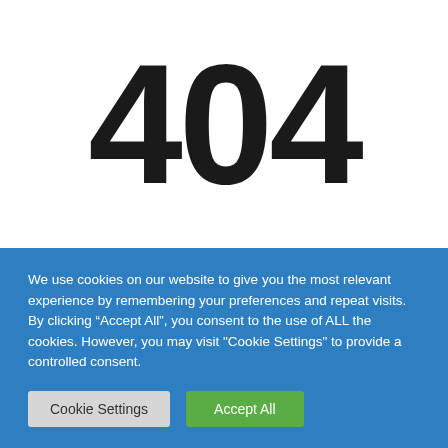404
We use cookies on our website to give you the most relevant experience by remembering your preferences and repeat visits. By clicking “Accept All”, you consent to the use of ALL the cookies. However, you may visit "Cookie Settings" to provide a controlled consent.